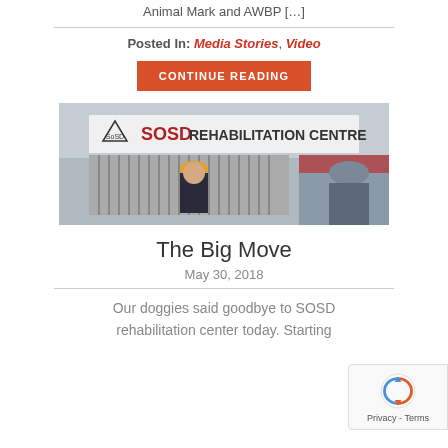Animal Mark and AWBP [...]
Posted In: Media Stories, Video
CONTINUE READING
[Figure (photo): Photo of people standing in front of the SOSD Rehabilitation Centre building, with a sign reading 'SOSD REHABILITATION CENTRE' and the SoSD logo visible. A person wearing a yellow cap is prominent in the foreground.]
The Big Move
May 30, 2018
Our doggies said goodbye to SOSD rehabilitation center today. Starting